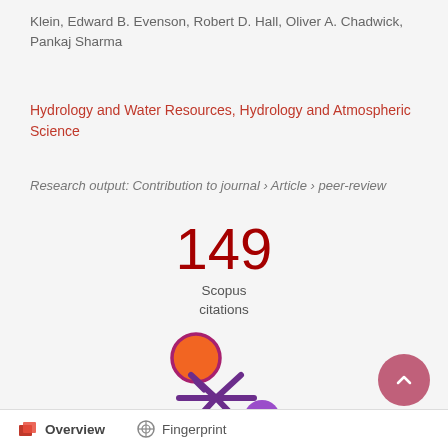Klein, Edward B. Evenson, Robert D. Hall, Oliver A. Chadwick, Pankaj Sharma
Hydrology and Water Resources, Hydrology and Atmospheric Science
Research output: Contribution to journal › Article › peer-review
149
Scopus
citations
[Figure (logo): Altmetric donut logo — orange circle connected to a purple asterisk/snowflake shape and a purple circle, representing the Altmetric badge]
[Figure (other): Scroll-to-top button — dark pink/mauve circle with upward chevron arrow]
Overview   Fingerprint